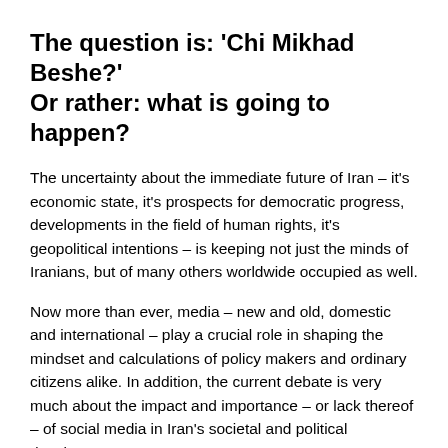The question is: 'Chi Mikhad Beshe?' Or rather: what is going to happen?
The uncertainty about the immediate future of Iran – it's economic state, it's prospects for democratic progress, developments in the field of human rights, it's geopolitical intentions – is keeping not just the minds of Iranians, but of many others worldwide occupied as well.
Now more than ever, media – new and old, domestic and international – play a crucial role in shaping the mindset and calculations of policy makers and ordinary citizens alike. In addition, the current debate is very much about the impact and importance – or lack thereof – of social media in Iran's societal and political development.
But also: what remains of the role of more traditional media? The Iranian media landscape is wide and diverse.